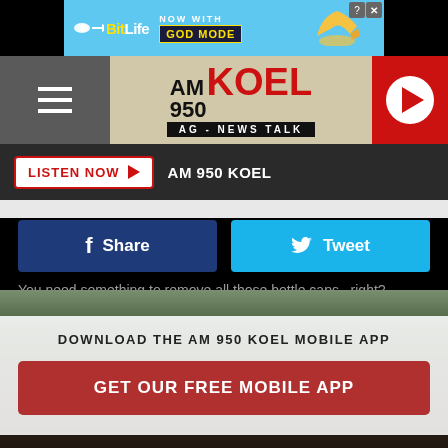[Figure (screenshot): BitLife advertisement banner with 'NOW WITH GOD MODE' text on blue background]
[Figure (logo): AM 950 KOEL AG - NEWS TALK radio station logo with navigation hamburger menu and red play button]
LISTEN NOW ▶   AM 950 KOEL
Share   Tweet
You need something to remove all those bottle caps...right?
RV Metal Shop makes custom bottle openers like these from hot ro...
DOWNLOAD THE AM 950 KOEL MOBILE APP
GET OUR FREE MOBILE APP
[Figure (photo): Metal bottle opener on pine branches and wooden surface background]